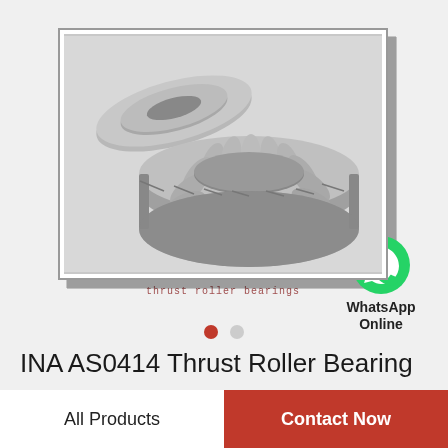[Figure (photo): INA AS0414 thrust roller bearing — a circular bearing race with cylindrical rollers and a separate flat washer/ring, shown in metallic silver/grey, displayed inside a framed product photo with a drop shadow.]
thrust roller bearings
[Figure (logo): WhatsApp green circular icon with white phone handset, labeled 'WhatsApp Online' below.]
INA AS0414 Thrust Roller Bearing
All Products
Contact Now